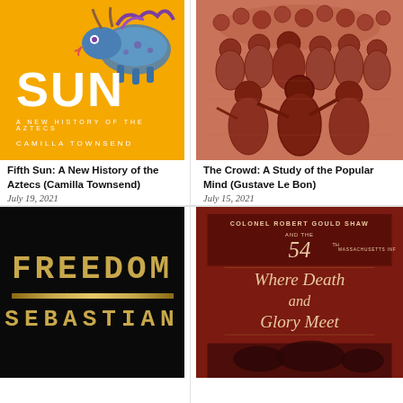[Figure (illustration): Book cover of Fifth Sun: A New History of the Aztecs by Camilla Townsend. Orange background with a stylized dragon/jaguar creature in blue and purple at top, large white SUN text, subtitle A NEW HISTORY OF THE AZTECS, author CAMILLA TOWNSEND.]
Fifth Sun: A New History of the Aztecs (Camilla Townsend)
July 19, 2021
[Figure (illustration): Book cover of The Crowd: A Study of the Popular Mind by Gustave Le Bon. Reddish-brown engraving style illustration showing a crowd of people.]
The Crowd: A Study of the Popular Mind (Gustave Le Bon)
July 15, 2021
[Figure (illustration): Book cover showing FREEDOM in large gold letters on black background with a gold bar stripe, and SEBASTIAN at the bottom in gold letters.]
[Figure (illustration): Book cover: Colonel Robert Gould Shaw and the 54th Massachusetts Infantry - Where Death and Glory Meet. Dark red background with gold script title and historical imagery at the bottom.]